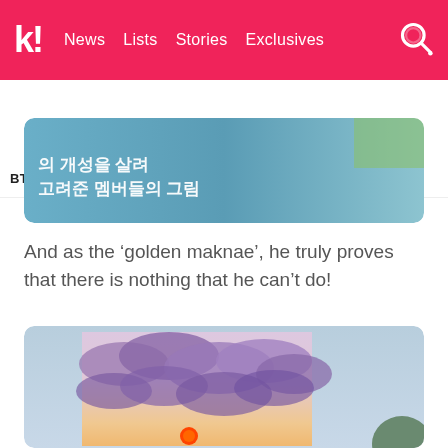k! News Lists Stories Exclusives
BTS BLACKPINK TWICE aespa NCT IVE ITZY
[Figure (photo): Korean text overlay on a sky-blue painting background, showing handwritten-style white Korean text]
And as the ‘golden maknae’, he truly proves that there is nothing that he can’t do!
[Figure (photo): A painting or artwork showing purple mountain-like clouds/landscape on a pink-purple background with a small red/orange sun dot at the bottom, held up against a light blue sky. A green rounded shape visible at bottom right.]